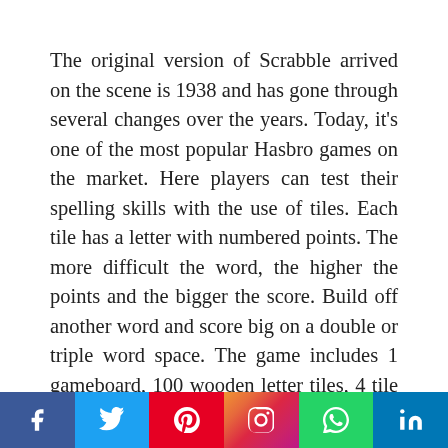The original version of Scrabble arrived on the scene is 1938 and has gone through several changes over the years. Today, it's one of the most popular Hasbro games on the market. Here players can test their spelling skills with the use of tiles. Each tile has a letter with numbered points. The more difficult the word, the higher the points and the bigger the score. Build off another word and score big on a double or triple word space. The game includes 1 gameboard, 100 wooden letter tiles, 4 tile racks, 1 drawstring letter bag and game guide. 2 to 4 players can enjoy this
We use cookies to ensure that we give you the best experience on our website. If you continue to use this site we will assume that you are happy with it.
Ok   Privacy policy